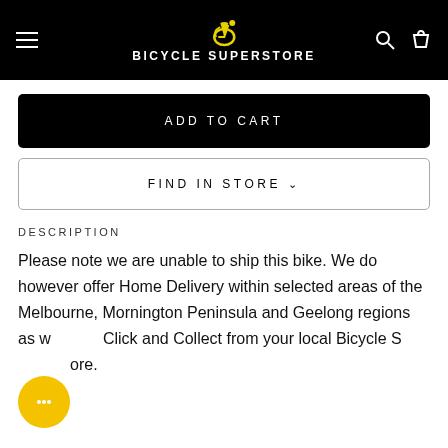BICYCLE SUPERSTORE
ADD TO CART
FIND IN STORE
DESCRIPTION
Please note we are unable to ship this bike. We do however offer Home Delivery within selected areas of the Melbourne, Mornington Peninsula and Geelong regions as well as Click and Collect from your local Bicycle Superstore.